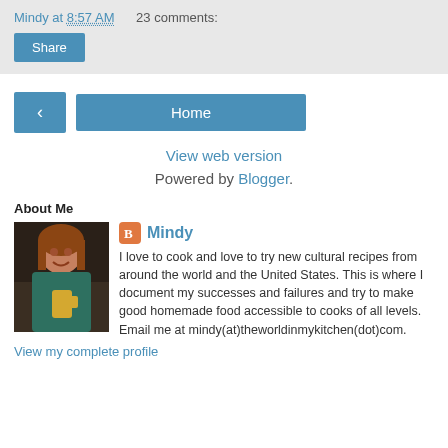Mindy at 8:57 AM   23 comments:
Share
< Home
View web version
Powered by Blogger.
About Me
[Figure (photo): Profile photo of Mindy, a woman with reddish-brown hair holding a drink, wearing a teal top]
Mindy
I love to cook and love to try new cultural recipes from around the world and the United States. This is where I document my successes and failures and try to make good homemade food accessible to cooks of all levels. Email me at mindy(at)theworldinmykitchen(dot)com.
View my complete profile